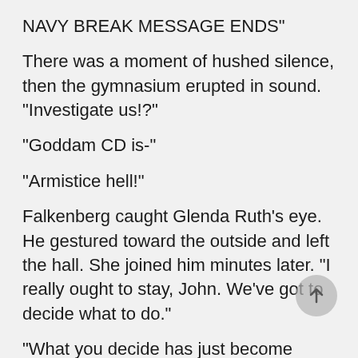NAVY BREAK MESSAGE ENDS"
There was a moment of hushed silence, then the gymnasium erupted in sound. "Investigate us!?"
"Goddam CD is-"
"Armistice hell!"
Falkenberg caught Glenda Ruth's eye. He gestured toward the outside and left the hall. She joined him minutes later. "I really ought to stay, John. We've got to decide what to do."
"What you decide has just become unimportant," Falkenberg said. "Your Council doesn't hold as many cards as it used to."